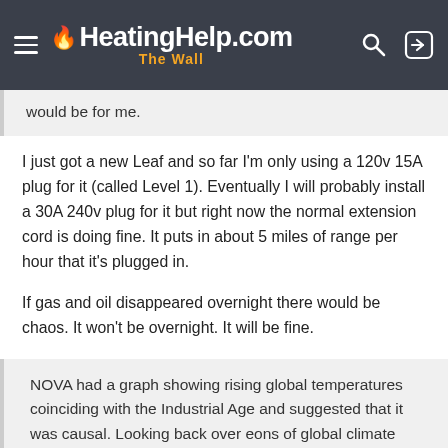HeatingHelp.com The Wall
would be for me.
I just got a new Leaf and so far I'm only using a 120v 15A plug for it (called Level 1). Eventually I will probably install a 30A 240v plug for it but right now the normal extension cord is doing fine. It puts in about 5 miles of range per hour that it's plugged in.
If gas and oil disappeared overnight there would be chaos. It won't be overnight. It will be fine.
NOVA had a graph showing rising global temperatures coinciding with the Industrial Age and suggested that it was causal. Looking back over eons of global climate variations one